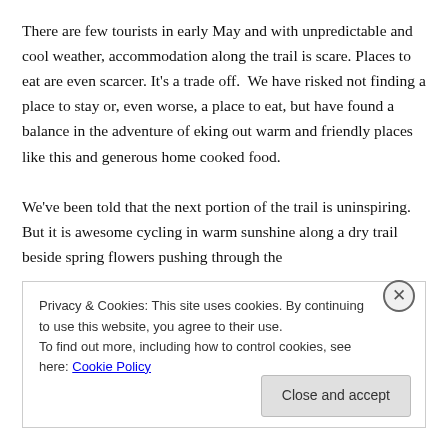There are few tourists in early May and with unpredictable and cool weather, accommodation along the trail is scare. Places to eat are even scarcer. It's a trade off.  We have risked not finding a place to stay or, even worse, a place to eat, but have found a balance in the adventure of eking out warm and friendly places like this and generous home cooked food.

We've been told that the next portion of the trail is uninspiring. But it is awesome cycling in warm sunshine along a dry trail beside spring flowers pushing through the
Privacy & Cookies: This site uses cookies. By continuing to use this website, you agree to their use.
To find out more, including how to control cookies, see here: Cookie Policy
Close and accept